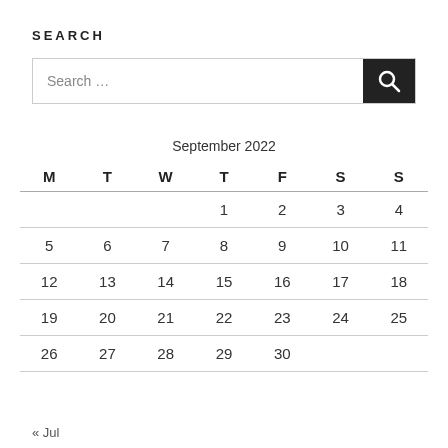SEARCH
Search ...
| M | T | W | T | F | S | S |
| --- | --- | --- | --- | --- | --- | --- |
|  |  |  | 1 | 2 | 3 | 4 |
| 5 | 6 | 7 | 8 | 9 | 10 | 11 |
| 12 | 13 | 14 | 15 | 16 | 17 | 18 |
| 19 | 20 | 21 | 22 | 23 | 24 | 25 |
| 26 | 27 | 28 | 29 | 30 |  |  |
« Jul